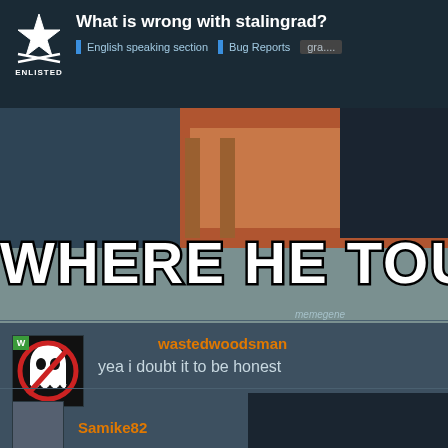What is wrong with stalingrad? | English speaking section | Bug Reports | gra....
[Figure (screenshot): Meme image showing a cartoon scene with large white bold text 'WHERE HE TOUCHED YO' and memegene watermark]
wastedwoodsman
yea i doubt it to be honest
Samike82